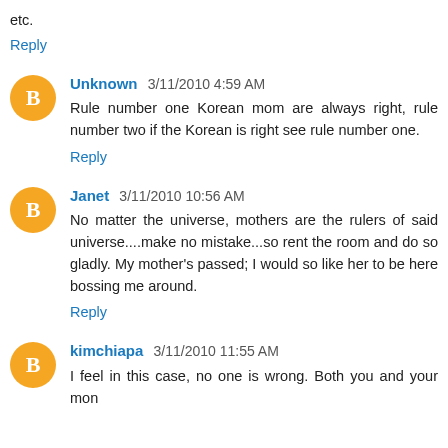etc.
Reply
Unknown 3/11/2010 4:59 AM
Rule number one Korean mom are always right, rule number two if the Korean is right see rule number one.
Reply
Janet 3/11/2010 10:56 AM
No matter the universe, mothers are the rulers of said universe....make no mistake...so rent the room and do so gladly. My mother's passed; I would so like her to be here bossing me around.
Reply
kimchiapa 3/11/2010 11:55 AM
I feel in this case, no one is wrong. Both you and your mon